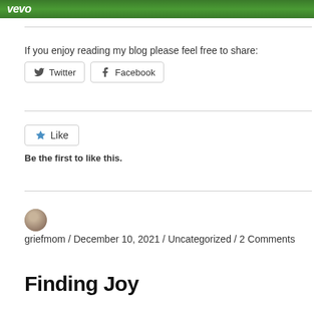[Figure (screenshot): Vevo green banner at top of page]
If you enjoy reading my blog please feel free to share:
[Figure (other): Twitter and Facebook share buttons]
[Figure (other): Like button]
Be the first to like this.
griefmom / December 10, 2021 / Uncategorized / 2 Comments
Finding Joy